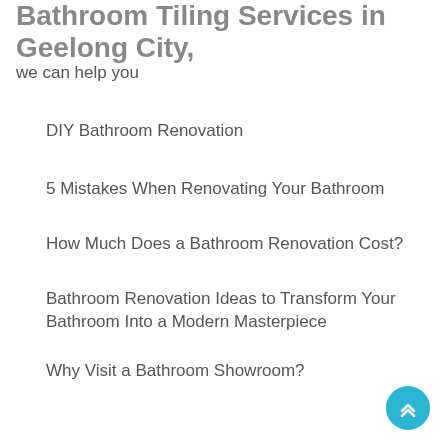Bathroom Tiling Services in Geelong City,
we can help you
DIY Bathroom Renovation
5 Mistakes When Renovating Your Bathroom
How Much Does a Bathroom Renovation Cost?
Bathroom Renovation Ideas to Transform Your Bathroom Into a Modern Masterpiece
Why Visit a Bathroom Showroom?